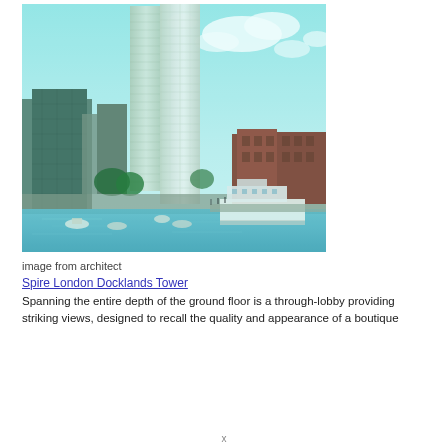[Figure (photo): Architectural rendering of the Spire London Docklands Tower showing two tall slender glass skyscrapers rising above a waterfront dock area, with boats in the foreground water, red brick warehouse buildings to the right, and a turquoise cloudy sky.]
image from architect
Spire London Docklands Tower
Spanning the entire depth of the ground floor is a through-lobby providing striking views, designed to recall the quality and appearance of a boutique